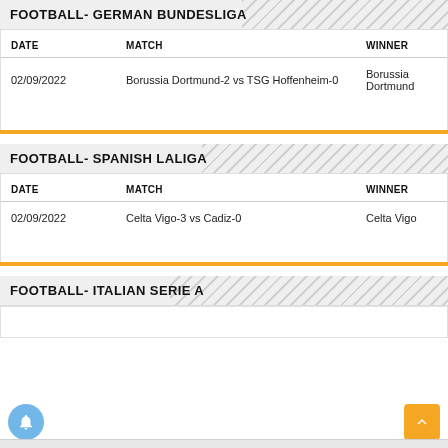FOOTBALL- GERMAN BUNDESLIGA
| DATE | MATCH | WINNER |
| --- | --- | --- |
| 02/09/2022 | Borussia Dortmund-2 vs TSG Hoffenheim-0 | Borussia Dortmund |
FOOTBALL- SPANISH LALIGA
| DATE | MATCH | WINNER |
| --- | --- | --- |
| 02/09/2022 | Celta Vigo-3 vs Cadiz-0 | Celta Vigo |
FOOTBALL- ITALIAN SERIE A